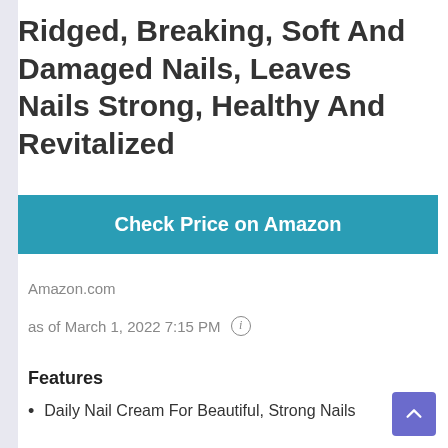Ridged, Breaking, Soft And Damaged Nails, Leaves Nails Strong, Healthy And Revitalized
[Figure (other): Teal 'Check Price on Amazon' button]
Amazon.com
as of March 1, 2022 7:15 PM ⓘ
Features
Daily Nail Cream For Beautiful, Strong Nails